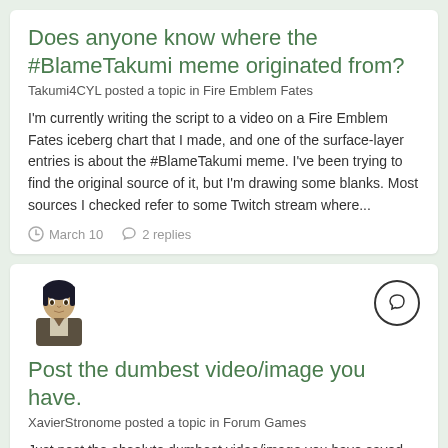Does anyone know where the #BlameTakumi meme originated from?
Takumi4CYL posted a topic in Fire Emblem Fates
I'm currently writing the script to a video on a Fire Emblem Fates iceberg chart that I made, and one of the surface-layer entries is about the #BlameTakumi meme. I've been trying to find the original source of it, but I'm drawing some blanks. Most sources I checked refer to some Twitch stream where...
March 10   2 replies
[Figure (illustration): Avatar/portrait of a dark-haired anime-style character in formal attire]
Post the dumbest video/image you have.
XavierStronome posted a topic in Forum Games
Just post the absolute dumbest video/image you have saved into your device. I'll start. wow that was so funny.mp4
April 15, 2020   24 replies